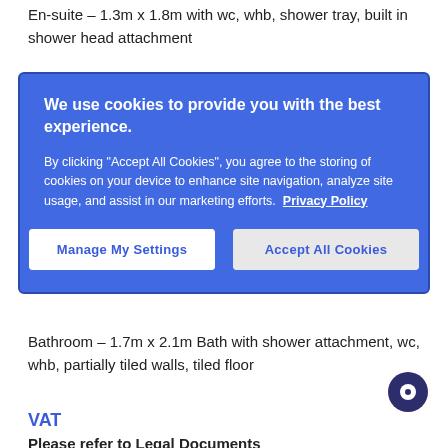En-suite – 1.3m x 1.8m with wc, whb, shower tray, built in shower head attachment
[Figure (screenshot): Cookie consent modal with blue background. Heading: 'We use cookies to provide you with the best experience.' Body text about accepting cookies with Privacy Policy link. Two buttons: 'Manage My Settings' (white) and 'Accept All Cookies' (light grey).]
Bathroom – 1.7m x 2.1m Bath with shower attachment, wc, whb, partially tiled walls, tiled floor
VAT
Please refer to Legal Documents